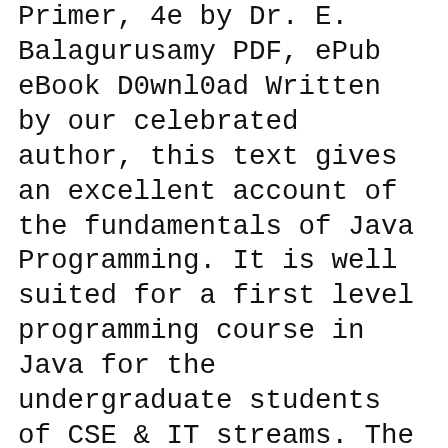Primer, 4e by Dr. E. Balagurusamy PDF, ePub eBook D0wnl0ad Written by our celebrated author, this text gives an excellent account of the fundamentals of Java Programming. It is well suited for a first level programming course in Java for the undergraduate students of CSE & IT streams. The book has a comprehensive
Bit-level Programming Appendix E: If you are interested in understanding the use of Java for Programming, this is the book for you. Fundamentals of Object-Oriented Programming Chapter 2: A Primer helps students for Java programming and provides them with exercises for practice. Before getting